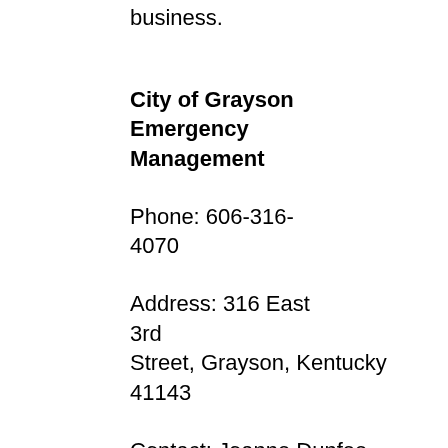business.
City of Grayson Emergency Management
Phone: 606-316-4070
Address: 316 East 3rd Street, Grayson, Kentucky 41143
Contact: Joanne Dunfee
For information please